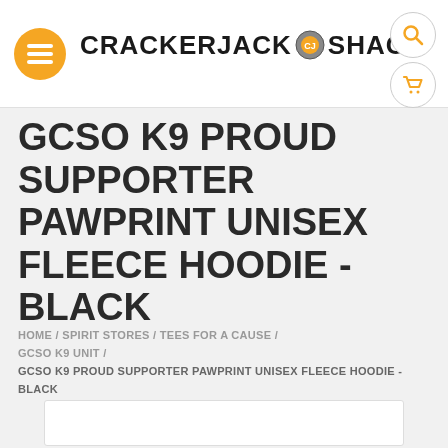CRACKERJACK SHACK
GCSO K9 PROUD SUPPORTER PAWPRINT UNISEX FLEECE HOODIE - BLACK
HOME / SPIRIT STORES / TEES FOR A CAUSE / GCSO K9 UNIT / GCSO K9 PROUD SUPPORTER PAWPRINT UNISEX FLEECE HOODIE - BLACK
[Figure (photo): Product image placeholder (white box)]